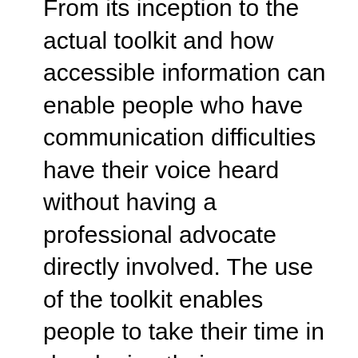From its inception to the actual toolkit and how accessible information can enable people who have communication difficulties have their voice heard without having a professional advocate directly involved. The use of the toolkit enables people to take their time in developing their understanding of the complicated process of a social care assessment explaining issues within the Care Act and Mental Capacity Act. People can choose to do this themselves, with people they trust or with professionals. The unique things about the toolkit is that not only does it give easy to understand information, it also prompts and offers space for people to express their feelings, wishes and needs with